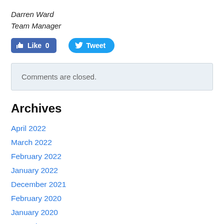Darren Ward
Team Manager
[Figure (other): Social media buttons: Facebook Like (0) and Twitter Tweet]
Comments are closed.
Archives
April 2022
March 2022
February 2022
January 2022
December 2021
February 2020
January 2020
December 2019
November 2019
October 2019
March 2019